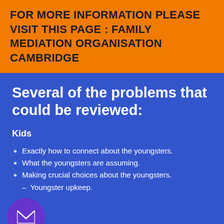FOR MORE INFORMATION PLEASE VISIT THIS PAGE : FAMILY MEDIATION ORGANISATION CAMBRIDGE
Several of the problems that could be reviewed:
Kids
Exactly how to connect about the youngsters.
What the youngsters are assuming.
Making crucial choices about the youngsters.
Youngster upkeep.
es as well as Home